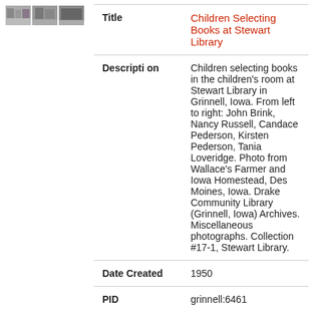[Figure (photo): Three small thumbnail photographs of library scenes]
| Title | Children Selecting Books at Stewart Library |
| Description | Children selecting books in the children's room at Stewart Library in Grinnell, Iowa. From left to right: John Brink, Nancy Russell, Candace Pederson, Kirsten Pederson, Tania Loveridge. Photo from Wallace's Farmer and Iowa Homestead, Des Moines, Iowa. Drake Community Library (Grinnell, Iowa) Archives. Miscellaneous photographs. Collection #17-1, Stewart Library. |
| Date Created | 1950 |
| PID | grinnell:6461 |
[Figure (photo): Two small thumbnail photographs of library/children scenes]
Title   Children's Room, Stewart Library